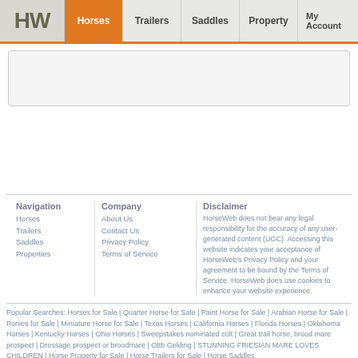HW | Horses | Trailers | Saddles | Property | My Account
[Figure (other): Top advertisement banner placeholder (light gray rounded rectangle)]
[Figure (other): Middle advertisement area placeholder]
Navigation
Horses
Trailers
Saddles
Properties
Company
About Us
Contact Us
Privacy Policy
Terms of Service
Disclaimer
HorseWeb does not bear any legal responsibility for the accuracy of any user-generated content (UGC). Accessing this website indicates your acceptance of HorseWeb's Privacy Policy and your agreement to be bound by the Terms of Service. HorseWeb does use cookies to enhance your website experience.
Popular Searches: Horses for Sale | Quarter Horse for Sale | Paint Horse for Sale | Arabian Horse for Sale | Ponies for Sale | Miniature Horse for Sale | Texas Horses | California Horses | Florida Horses | Oklahoma Horses | Kentucky Horses | Ohio Horses | Sweepstakes nominated colt | Great trail horse, brood mare prospect | Dressage prospect or broodmare | Ottb Gelding | STUNNING FRIESIAN MARE LOVES CHILDREN | Horse Property for Sale | Horse Trailers for Sale | Horse Saddles
Classified listings of of Appaloosa Horses for Sale near Columbus, MT
Copyright © 1995-2022 HorseWeb.com